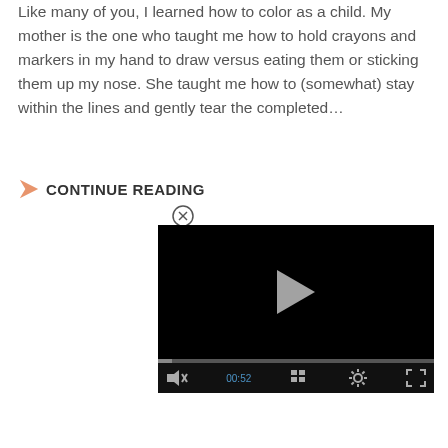Like many of you, I learned how to color as a child. My mother is the one who taught me how to hold crayons and markers in my hand to draw versus eating them or sticking them up my nose. She taught me how to (somewhat) stay within the lines and gently tear the completed…
CONTINUE READING
[Figure (screenshot): A video player with black background showing a play button in the center, a progress bar, and controls including mute, time display (00:52), grid/chapters button, settings gear, and fullscreen button.]